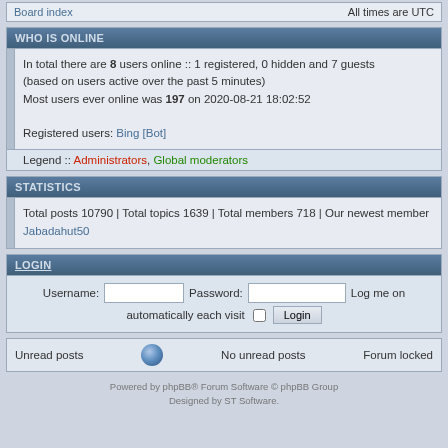Board index | All times are UTC
WHO IS ONLINE
In total there are 8 users online :: 1 registered, 0 hidden and 7 guests (based on users active over the past 5 minutes)
Most users ever online was 197 on 2020-08-21 18:02:52

Registered users: Bing [Bot]
Legend :: Administrators, Global moderators
STATISTICS
Total posts 10790 | Total topics 1639 | Total members 718 | Our newest member Jabadahut50
LOGIN
Username: [input] Password: [input] Log me on automatically each visit [checkbox] Login
Unread posts   No unread posts   Forum locked
Powered by phpBB® Forum Software © phpBB Group
Designed by ST Software.